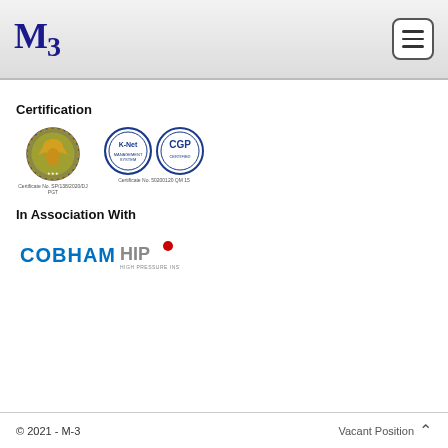M3
Certification
[Figure (logo): Two certification badge logos: first is an Indonesian government certification badge with text 'Certificate No. SP/138/2020/DJ PGT', second is two circular badges (K-Net and CGP) with text 'Certificate No. 50200120 QM 15']
In Association With
[Figure (logo): Cobham HPI (High Precision Instrumentation) logo in blue and grey with red dot]
© 2021 - M-3
Vacant Position